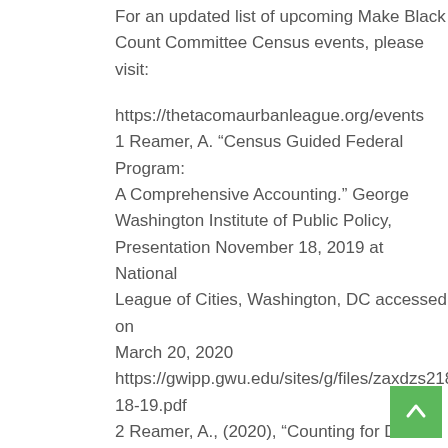For an updated list of upcoming Make Black Count Committee Census events, please visit:
https://thetacomaurbanleague.org/events
1 Reamer, A. “Census Guided Federal Program: A Comprehensive Accounting.” George Washington Institute of Public Policy, Presentation November 18, 2019 at National League of Cities, Washington, DC accessed on March 20, 2020 https://gwipp.gwu.edu/sites/g/files/zaxdzs2181/f/d... 18-19.pdf
2 Reamer, A., (2020), “Counting for Dollars 2020: The Role of the Decennial Census in the...